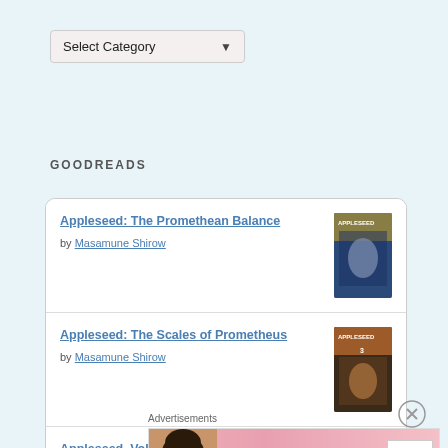Select Category ▾
GOODREADS
Appleseed: The Promethean Balance by Masamune Shirow
Appleseed: The Scales of Prometheus by Masamune Shirow
Appleseed, Vol. 1: The Promethean Challenge by Masamune Shirow
Advertisements
[Figure (photo): Victoria's Secret advertisement banner with model, VS logo, 'SHOP THE COLLECTION' text and 'SHOP NOW' button]